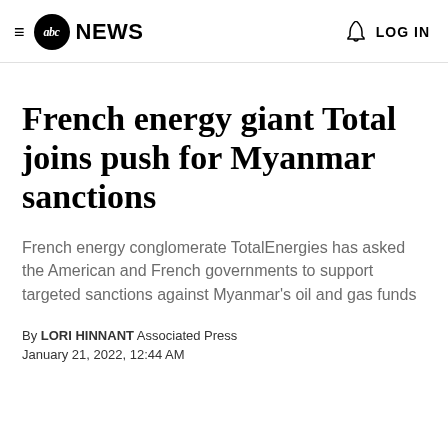≡ abc NEWS  🔔 LOG IN
French energy giant Total joins push for Myanmar sanctions
French energy conglomerate TotalEnergies has asked the American and French governments to support targeted sanctions against Myanmar's oil and gas funds
By LORI HINNANT Associated Press
January 21, 2022, 12:44 AM